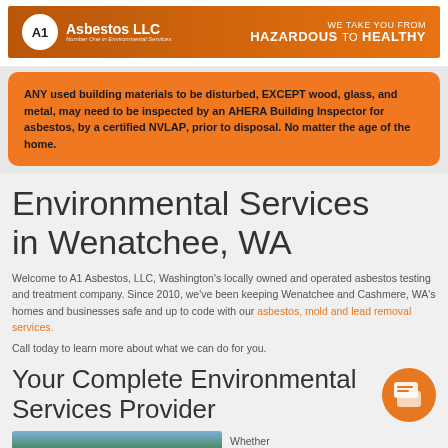[Figure (logo): A1 Asbestos LLC banner with logo and tagline 'WE TAKE YOU FROM HAZARDOUS TO HEALTHY']
ANY used building materials to be disturbed, EXCEPT wood, glass, and metal, may need to be inspected by an AHERA Building Inspector for asbestos, by a certified NVLAP, prior to disposal. No matter the age of the home.
Environmental Services in Wenatchee, WA
Welcome to A1 Asbestos, LLC, Washington's locally owned and operated asbestos testing and treatment company. Since 2010, we've been keeping Wenatchee and Cashmere, WA's homes and businesses safe and up to code with our asbestos, mold and lead removal services.
Call today to learn more about what we can do for you.
Your Complete Environmental Services Provider
[Figure (photo): Outdoor photo of trees and building]
Whether you're